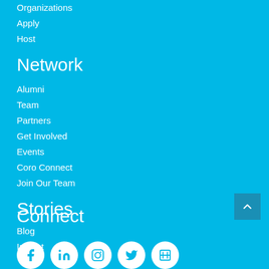Organizations
Apply
Host
Network
Alumni
Team
Partners
Get Involved
Events
Coro Connect
Join Our Team
Stories
Blog
Impact
Connect
[Figure (infographic): Social media icons row: Facebook, LinkedIn, Instagram, Twitter, and another icon, all white circles on cyan background]